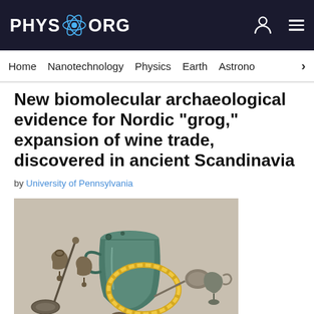PHYS.ORG
Home  Nanotechnology  Physics  Earth  Astron
New biomolecular archaeological evidence for Nordic "grog," expansion of wine trade, discovered in ancient Scandinavia
by University of Pennsylvania
[Figure (photo): Ancient Nordic archaeological artifacts including a green ceramic/bronze vessel with handle, a large gold torc/ring, small bronze bells and tools arranged on a light background.]